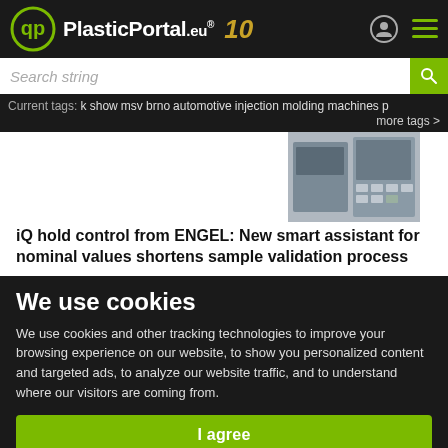PlasticPortal.eu® 10
Search string
Current tags: k show  msv brno  automotive  injection molding machines  p  more tags >
[Figure (photo): Photo of industrial injection molding machine equipment]
iQ hold control from ENGEL: New smart assistant for nominal values shortens sample validation process
We use cookies
We use cookies and other tracking technologies to improve your browsing experience on our website, to show you personalized content and targeted ads, to analyze our website traffic, and to understand where our visitors are coming from.
I agree